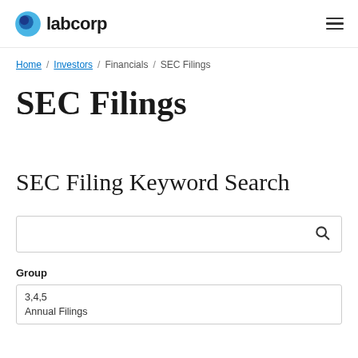labcorp
Home / Investors / Financials / SEC Filings
SEC Filings
SEC Filing Keyword Search
Group
3,4,5
Annual Filings